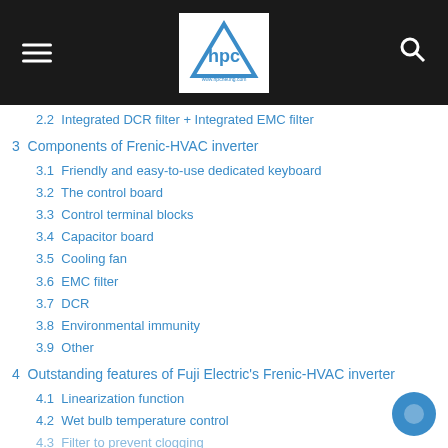HPC logo header with menu and search icons
2.2  Integrated DCR filter + Integrated EMC filter
3  Components of Frenic-HVAC inverter
3.1  Friendly and easy-to-use dedicated keyboard
3.2  The control board
3.3  Control terminal blocks
3.4  Capacitor board
3.5  Cooling fan
3.6  EMC filter
3.7  DCR
3.8  Environmental immunity
3.9  Other
4  Outstanding features of Fuji Electric's Frenic-HVAC inverter
4.1  Linearization function
4.2  Wet bulb temperature control
4.3  Filter to prevent clogging